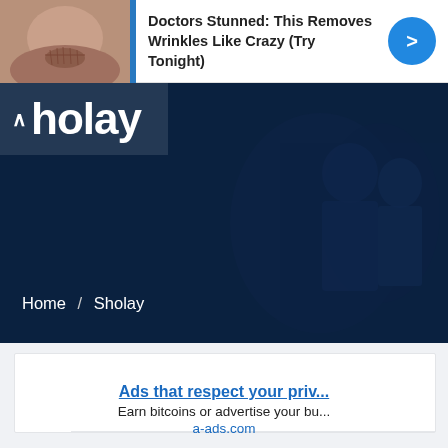[Figure (screenshot): Advertisement banner with wrinkled lips image and text 'Doctors Stunned: This Removes Wrinkles Like Crazy (Try Tonight)' with a blue arrow button]
holay
Home / Sholay
[Figure (screenshot): Advertisement block: 'Ads that respect your priv...' / 'Earn bitcoins or advertise your bu...' / 'a-ads.com']